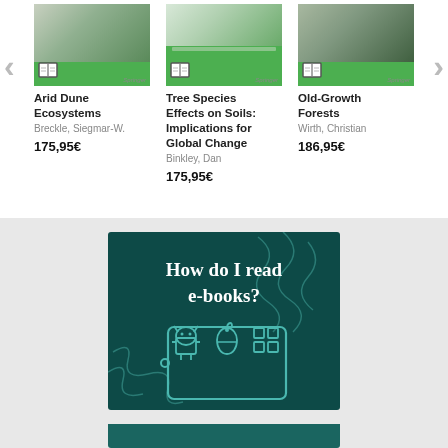[Figure (screenshot): Book carousel with navigation arrows showing three book covers: Arid Dune Ecosystems, Tree Species Effects on Soils: Implications for Global Change, Old-Growth Forests]
Arid Dune Ecosystems
Breckle, Siegmar-W.
175,95€
Tree Species Effects on Soils: Implications for Global Change
Binkley, Dan
175,95€
Old-Growth Forests
Wirth, Christian
186,95€
[Figure (infographic): Dark teal banner with text 'How do I read e-books?' and icons of a tablet with Android, Apple, and Windows logos]